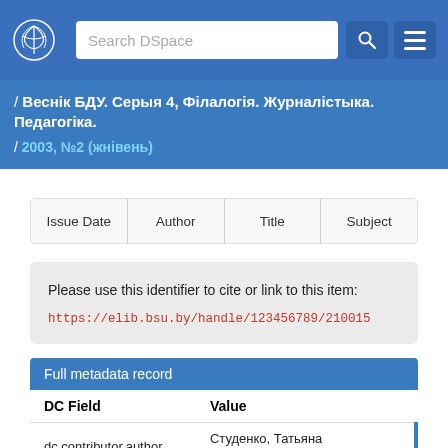Search DSpace
/ Веснік БДУ. Серыя 4, Філалогія. Журналістыка. Педагогіка. / 2003, №2 (жнівень)
| Issue Date | Author | Title | Subject |
| --- | --- | --- | --- |
Please use this identifier to cite or link to this item: https://elib.bsu.by/handle/123456789/210015
| DC Field | Value |
| --- | --- |
| dc.contributor.author | Студенко, Татьяна Святославовна |
| dc.date.accessioned | 2018-12-05T07:43:23Z |